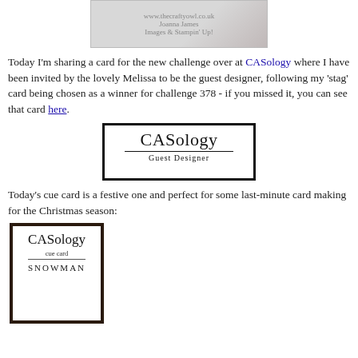[Figure (photo): Partial view of a crafting card image with red and grey tones, showing a website URL and name text overlay]
Today I'm sharing a card for the new challenge over at CASology where I have been invited by the lovely Melissa to be the guest designer, following my 'stag' card being chosen as a winner for challenge 378 - if you missed it, you can see that card here.
[Figure (logo): CASology Guest Designer badge — white rectangle with thick black border, text 'CASology' in large serif font, horizontal rule, and 'Guest Designer' in smaller spaced text below]
Today's cue card is a festive one and perfect for some last-minute card making for the Christmas season:
[Figure (other): CASology cue card with thick dark brown border, showing 'CASology' in large serif font, 'cue card' in smaller text, a dividing line, and 'SNOWMAN' partially visible at the bottom]